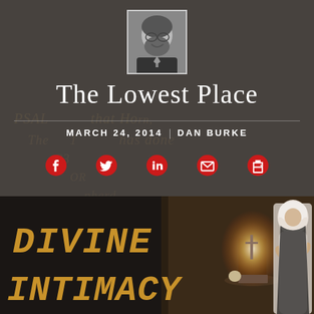[Figure (photo): Black and white headshot photo of author Dan Burke, a bearded man smiling, wearing a jacket]
The Lowest Place
MARCH 24, 2014   DAN BURKE
[Figure (illustration): Social media sharing icons: Facebook, Twitter, LinkedIn, Email, Print — all in red]
[Figure (photo): Book cover image for 'Divine Intimacy' showing a nun in white habit praying before a candle-lit table with a skull and crucifix, painted in classical religious style. Text reads DIVINE INTIMACY in golden serif letters on dark textured background.]